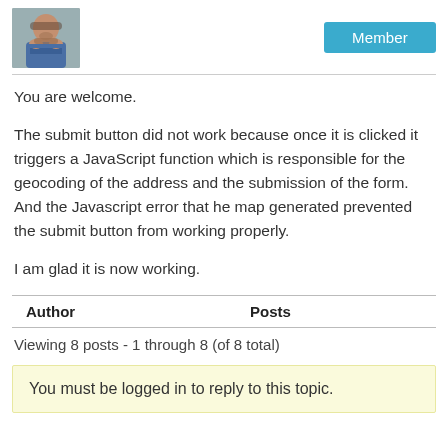[Figure (photo): Profile avatar photo of a man with crossed arms and a beard, wearing a blue t-shirt, outdoors near a waterfall]
Member
You are welcome.
The submit button did not work because once it is clicked it triggers a JavaScript function which is responsible for the geocoding of the address and the submission of the form. And the Javascript error that he map generated prevented the submit button from working properly.
I am glad it is now working.
| Author | Posts |
| --- | --- |
Viewing 8 posts - 1 through 8 (of 8 total)
You must be logged in to reply to this topic.